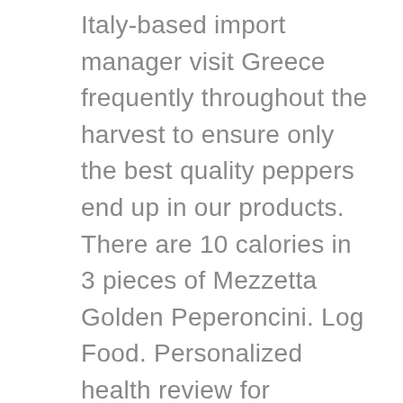Italy-based import manager visit Greece frequently throughout the harvest to ensure only the best quality peppers end up in our products. There are 10 calories in 3 pieces of Mezzetta Golden Peperoncini. Log Food. Personalized health review for Mezzetta Pepper Rings, Deli-Sliced, Mild: 10 calories, nutrition grade (C), problematic ingredients, and more. Grown on sun-drenched Mediterranean farms, their golden color and mildly piquant, fruity flavor echo the spirit their native land, making them a classic sandwich companion and a must-have on antipasto platters and salad bars. Find nutrition facts for over 2,000,000 foods. Pepperoncini Nutrition. Serving Size : 3 peppers. These medium-spicy peppers are a staple of Greek and Italian cuisine. â ° 1 serving (100 g) of pepperoncini peppers may contain only 0.3 g protein, 1 g sugars, and 3 g of carbohydrates. Pepperoncini, also called Tuscan peppers, golden